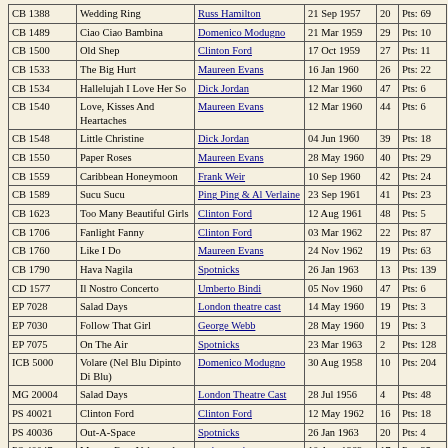| ID | Title | Artist | Date | Pos | Pts |
| --- | --- | --- | --- | --- | --- |
| CB 1388 | Wedding Ring | Russ Hamilton | 21 Sep 1957 | 20 | Pts: 69 |
| CB 1489 | Ciao Ciao Bambina | Domenico Modugno | 21 Mar 1959 | 29 | Pts: 10 |
| CB 1500 | Old Shep | Clinton Ford | 17 Oct 1959 | 27 | Pts: 11 |
| CB 1533 | The Big Hurt | Maureen Evans | 16 Jan 1960 | 26 | Pts: 22 |
| CB 1534 | Hallelujah I Love Her So | Dick Jordan | 12 Mar 1960 | 47 | Pts: 6 |
| CB 1540 | Love, Kisses And Heartaches | Maureen Evans | 12 Mar 1960 | 44 | Pts: 6 |
| CB 1548 | Little Christine | Dick Jordan | 04 Jun 1960 | 39 | Pts: 18 |
| CB 1550 | Paper Roses | Maureen Evans | 28 May 1960 | 40 | Pts: 29 |
| CB 1559 | Caribbean Honeymoon | Frank Weir | 10 Sep 1960 | 42 | Pts: 24 |
| CB 1589 | Sucu Sucu | Ping Ping & Al Verlaine | 23 Sep 1961 | 41 | Pts: 23 |
| CB 1623 | Too Many Beautiful Girls | Clinton Ford | 12 Aug 1961 | 48 | Pts: 5 |
| CB 1706 | Fanlight Fanny | Clinton Ford | 03 Mar 1962 | 22 | Pts: 87 |
| CB 1760 | Like I Do | Maureen Evans | 24 Nov 1962 | 19 | Pts: 63 |
| CB 1790 | Hava Nagila | Spotnicks | 26 Jan 1963 | 13 | Pts: 139 |
| CD 1577 | Il Nostro Concerto | Umberto Bindi | 05 Nov 1960 | 47 | Pts: 6 |
| EP 7028 | Salad Days | London theatre cast | 14 May 1960 | 19 | Pts: 3 |
| EP 7030 | Follow That Girl | George Webb | 28 May 1960 | 19 | Pts: 3 |
| EP 7075 | On The Air | Spotnicks | 23 Mar 1963 | 2 | Pts: 128 |
| ICB 5000 | Volare (Nel Blu Dipinto Di Blu) | Domenico Modugno | 30 Aug 1958 | 10 | Pts: 204 |
| MG 20004 | Salad Days | London Theatre Cast | 28 Jul 1956 | 4 | Pts: 48 |
| PS 40021 | Clinton Ford | Clinton Ford | 12 May 1962 | 16 | Pts: 18 |
| PS 40036 | Out-A-Space | Spotnicks | 26 Jan 1963 | 20 | Pts: 4 |
| PS 40047 | Mersey Beat Volume 1 | various artists | 10 Aug 1963 | 17 | Pts: 25 |
Document created 25 August 2006. Copyright Chartwatch Publications 2000-2006